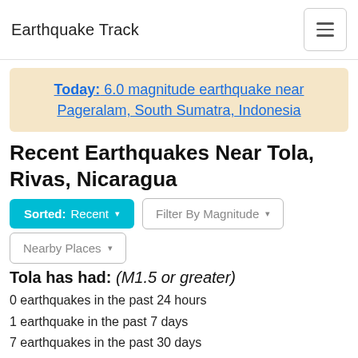Earthquake Track
Today: 6.0 magnitude earthquake near Pageralam, South Sumatra, Indonesia
Recent Earthquakes Near Tola, Rivas, Nicaragua
Sorted: Recent ▾   Filter By Magnitude ▾
Nearby Places ▾
Tola has had: (M1.5 or greater)
0 earthquakes in the past 24 hours
1 earthquake in the past 7 days
7 earthquakes in the past 30 days
75 earthquakes in the past 365 days